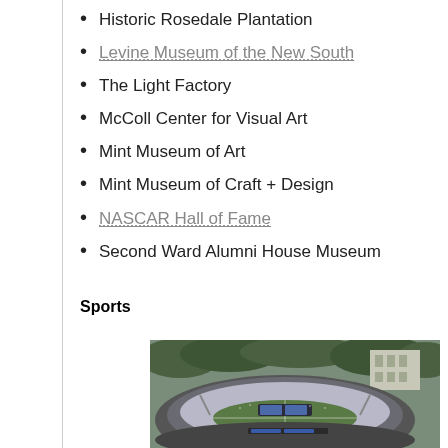Historic Rosedale Plantation
Levine Museum of the New South
The Light Factory
McColl Center for Visual Art
Mint Museum of Art
Mint Museum of Craft + Design
NASCAR Hall of Fame
Second Ward Alumni House Museum
Sports
[Figure (photo): Aerial view of a large sports stadium packed with spectators, surrounded by trees and city buildings.]